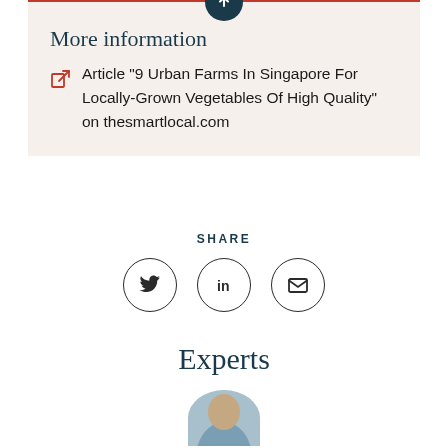More information
Article "9 Urban Farms In Singapore For Locally-Grown Vegetables Of High Quality" on thesmartlocal.com
SHARE
[Figure (infographic): Three social share buttons in circles: Twitter (bird icon), LinkedIn (in icon), Email (envelope icon)]
Experts
[Figure (photo): Circular portrait photo of an expert, partially visible at bottom of page]